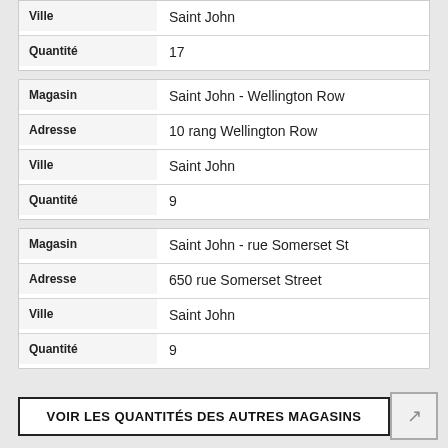| Champ | Valeur |
| --- | --- |
| Ville | Saint John |
| Quantité | 17 |
| Champ | Valeur |
| --- | --- |
| Magasin | Saint John - Wellington Row |
| Adresse | 10 rang Wellington Row |
| Ville | Saint John |
| Quantité | 9 |
| Champ | Valeur |
| --- | --- |
| Magasin | Saint John - rue Somerset St |
| Adresse | 650 rue Somerset Street |
| Ville | Saint John |
| Quantité | 9 |
VOIR LES QUANTITÉS DES AUTRES MAGASINS